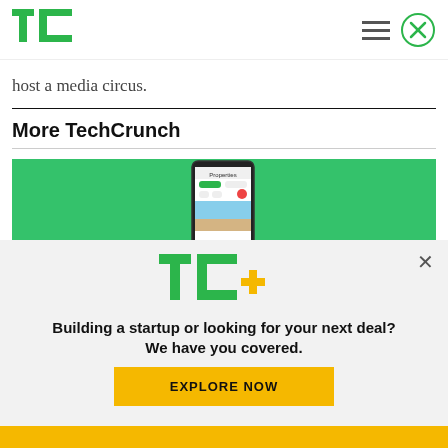TechCrunch
host a media circus.
More TechCrunch
[Figure (screenshot): App screenshot on green background showing a mobile app interface]
[Figure (logo): TC+ logo with TechCrunch T and C in green and plus sign in yellow]
Building a startup or looking for your next deal? We have you covered.
EXPLORE NOW